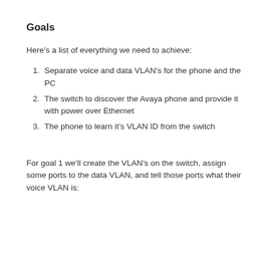Goals
Here’s a list of everything we need to achieve:
1. Separate voice and data VLAN’s for the phone and the PC
2. The switch to discover the Avaya phone and provide it with power over Ethernet
3. The phone to learn it’s VLAN ID from the switch
For goal 1 we’ll create the VLAN’s on the switch, assign some ports to the data VLAN, and tell those ports what their voice VLAN is: